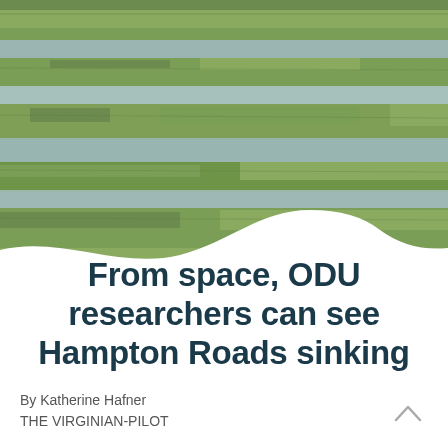[Figure (photo): Aerial or wide view of green salt marsh grasses with water channels running through them, shot from above or at a low angle, with muted blue-gray water reflections among green grassy patches.]
From space, ODU researchers can see Hampton Roads sinking
By Katherine Hafner
THE VIRGINIAN-PILOT